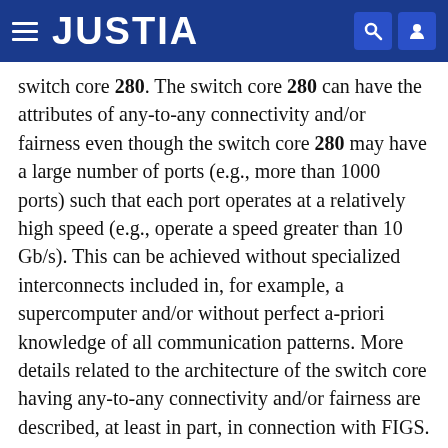JUSTIA
switch core 280. The switch core 280 can have the attributes of any-to-any connectivity and/or fairness even though the switch core 280 may have a large number of ports (e.g., more than 1000 ports) such that each port operates at a relatively high speed (e.g., operate a speed greater than 10 Gb/s). This can be achieved without specialized interconnects included in, for example, a supercomputer and/or without perfect a-priori knowledge of all communication patterns. More details related to the architecture of the switch core having any-to-any connectivity and/or fairness are described, at least in part, in connection with FIGS. 4 through 13.
Referring back to FIG. 1, in some embodiments, the data center 100 can be configured to allow for flexible oversubscription. In some embodiments, through flexibility...